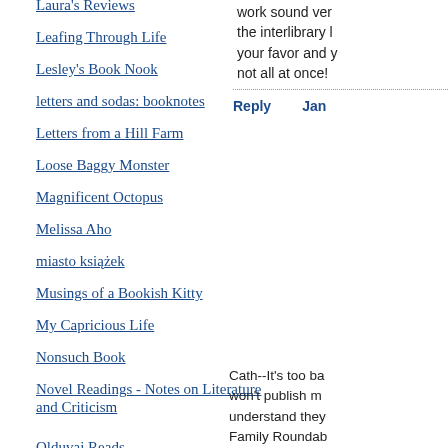Laura's Reviews
Leafing Through Life
Lesley's Book Nook
letters and sodas: booknotes
Letters from a Hill Farm
Loose Baggy Monster
Magnificent Octopus
Melissa Aho
miasto książek
Musings of a Bookish Kitty
My Capricious Life
Nonsuch Book
Novel Readings - Notes on Literature and Criticism
Olduvai Reads
Orpheus Sings the Guitar Electric
Pages turned
Petrona
work sound very the interlibrary l your favor and y not all at once!
Reply  Jan
[Figure (illustration): Avatar icon with blue wavy water-like pattern in a square frame]
Danielle said...
Cath--It's too ba won't publish m understand they Family Roundab didn't know abo was looking for Amazon and ca try and borrow i Darlene--I think I decided to pick first place. It onl appealing, but I yes, I am thankf bringing so man